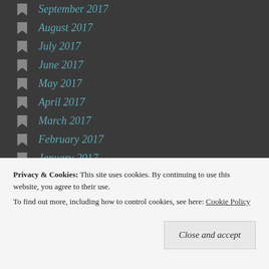September 2017
August 2017
July 2017
June 2017
May 2017
April 2017
March 2017
February 2017
January 2017
September 2016
Privacy & Cookies: This site uses cookies. By continuing to use this website, you agree to their use.
To find out more, including how to control cookies, see here: Cookie Policy
Close and accept